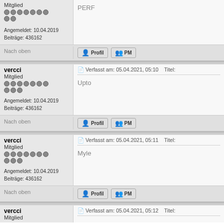Mitglied
Angemeldet: 10.04.2019
Beiträge: 436162
PERF
Nach oben
vercci
Mitglied
Angemeldet: 10.04.2019
Beiträge: 436162
Verfasst am: 05.04.2021, 05:10    Titel:
Upto
Nach oben
vercci
Mitglied
Angemeldet: 10.04.2019
Beiträge: 436162
Verfasst am: 05.04.2021, 05:11    Titel:
Myle
Nach oben
vercci
Mitglied
Verfasst am: 05.04.2021, 05:12    Titel: